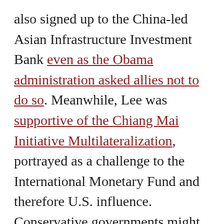also signed up to the China-led Asian Infrastructure Investment Bank even as the Obama administration asked allies not to do so. Meanwhile, Lee was supportive of the Chiang Mai Initiative Multilateralization, portrayed as a challenge to the International Monetary Fund and therefore U.S. influence. Conservative governments might not have challenged the alliance, but they were willing to go against the wishes of Washington in East Asian affairs. Indeed, the highest point in Sino-South Korean relations in recent years came when Park attended China's World War II military parade in 2015. As a middle power,